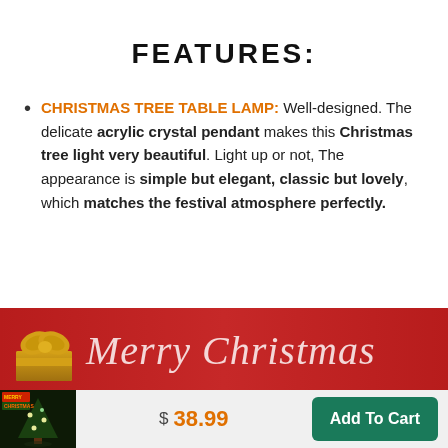FEATURES:
CHRISTMAS TREE TABLE LAMP: Well-designed. The delicate acrylic crystal pendant makes this Christmas tree light very beautiful. Light up or not, The appearance is simple but elegant, classic but lovely, which matches the festival atmosphere perfectly.
[Figure (photo): Red Merry Christmas banner with a gold gift bow on the left and 'Merry Christmas' text in white italic script on a red background.]
[Figure (photo): Small product thumbnail showing a Christmas tree lamp in a dark room.]
$ 38.99
Add To Cart